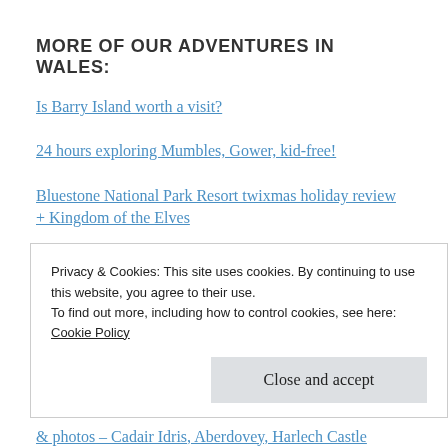MORE OF OUR ADVENTURES IN WALES:
Is Barry Island worth a visit?
24 hours exploring Mumbles, Gower, kid-free!
Bluestone National Park Resort twixmas holiday review + Kingdom of the Elves
Brecon Beacons National Park Wales: Pen y Fan and
Privacy & Cookies: This site uses cookies. By continuing to use this website, you agree to their use.
To find out more, including how to control cookies, see here:
Cookie Policy
Close and accept
& photos – Cadair Idris, Aberdovey, Harlech Castle